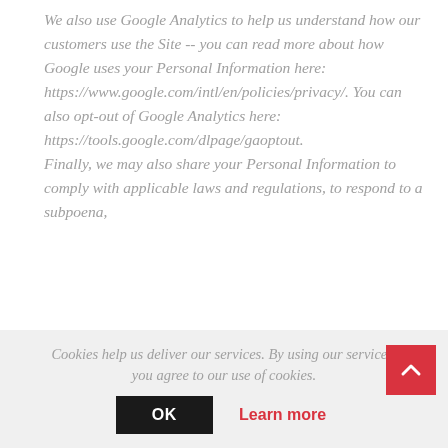We also use Google Analytics to help us understand how our customers use the Site -- you can read more about how Google uses your Personal Information here: https://www.google.com/intl/en/policies/privacy/. You can also opt-out of Google Analytics here: https://tools.google.com/dlpage/gaoptout.

Finally, we may also share your Personal Information to comply with applicable laws and regulations, to respond to a subpoena,
Cookies help us deliver our services. By using our services, you agree to our use of cookies.